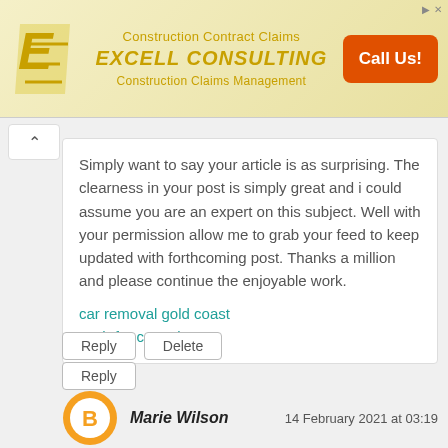[Figure (other): Excell Consulting advertisement banner with logo, company name, taglines 'Construction Contract Claims' and 'Construction Claims Management', and orange 'Call Us!' button]
Simply want to say your article is as surprising. The clearness in your post is simply great and i could assume you are an expert on this subject. Well with your permission allow me to grab your feed to keep updated with forthcoming post. Thanks a million and please continue the enjoyable work.
car removal gold coast
cash for cars elanora
Reply
Delete
Reply
[Figure (illustration): Blogger user avatar icon — orange circle with white B letter]
Marie Wilson
14 February 2021 at 03:19